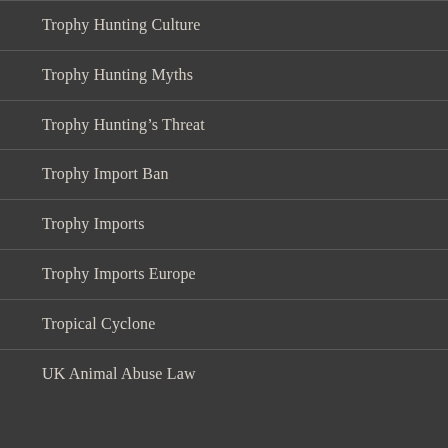Trophy Hunting Culture
Trophy Hunting Myths
Trophy Hunting's Threat
Trophy Import Ban
Trophy Imports
Trophy Imports Europe
Tropical Cyclone
UK Animal Abuse Law